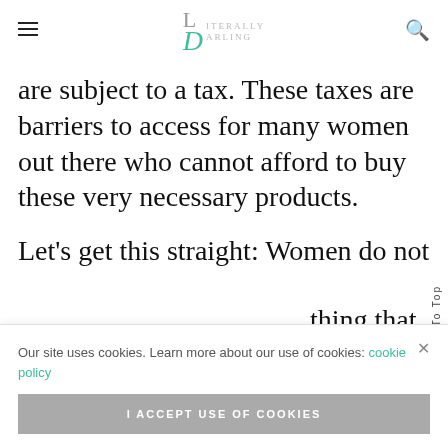Literally Darling
are subject to a tax. These taxes are barriers to access for many women out there who cannot afford to buy these very necessary products.
Let's get this straight: Women do not [choose] thing that we get it [for free,] l it
Our site uses cookies. Learn more about our use of cookies: cookie policy
I ACCEPT USE OF COOKIES